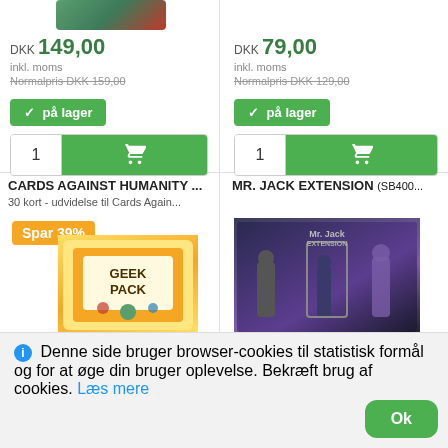DKK 149,00
inkl. moms
Normalpris DKK 159,00
✓ på lager
1
DKK 79,00
inkl. moms
Normalpris DKK 129,00
✓ på lager
1
CARDS AGAINST HUMANITY ...
30 kort - udvidelse til Cards Again...
Spar 39%
[Figure (photo): Geek Pack card game product image]
MR. JACK EXTENSION (SB400...
Spar 50%
[Figure (photo): Mr. Jack Extension board game product image]
Denne side bruger browser-cookies til statistisk formål og for at øge din bruger oplevelse. Bekræft brug af cookies. Læs mere
Ok